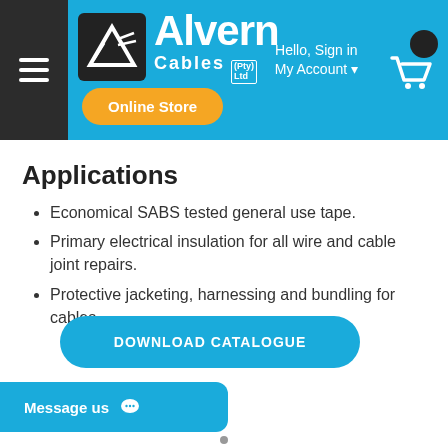[Figure (logo): Alvern Cables (Pty) Ltd logo with stylized triangle/A mark on dark background, white Alvern text, and Cables Pty Ltd subtitle on blue header background]
Applications
Economical SABS tested general use tape.
Primary electrical insulation for all wire and cable joint repairs.
Protective jacketing, harnessing and bundling for cables.
[Figure (screenshot): Download Catalogue button — rounded teal button with white text DOWNLOAD CATALOGUE]
[Figure (screenshot): Message us chat button — teal rounded rectangle with white text and chat bubble icon]